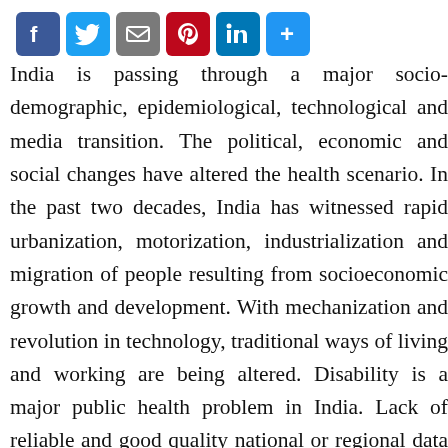[Figure (other): Social media sharing icons: Facebook, Twitter, Email, Pinterest, LinkedIn, Share (plus)]
India is passing through a major socio-demographic, epidemiological, technological and media transition. The political, economic and social changes have altered the health scenario. In the past two decades, India has witnessed rapid urbanization, motorization, industrialization and migration of people resulting from socioeconomic growth and development. With mechanization and revolution in technology, traditional ways of living and working are being altered. Disability is a major public health problem in India. Lack of reliable and good quality national or regional data has thwarted their recognition. Many disabilities are linked to social, environmental, cultural and biological issues in causation; recognized as man-made and behaviour linked disorders and linked to socio-demographic transition. Prevention, acute and long-term care, and rehabilitation are the major challenges faced today